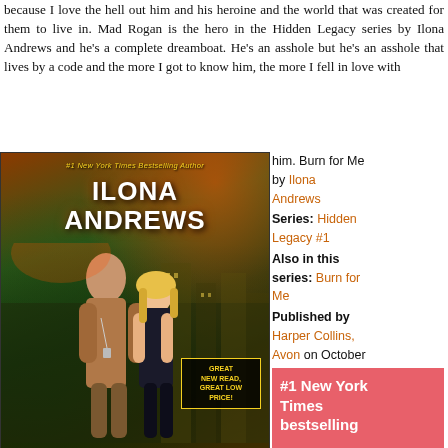because I love the hell out him and his heroine and the world that was created for them to live in. Mad Rogan is the hero in the Hidden Legacy series by Ilona Andrews and he's a complete dreamboat. He's an asshole but he's an asshole that lives by a code and the more I got to know him, the more I fell in love with him. Burn for Me by Ilona Andrews
[Figure (illustration): Book cover of 'Burn for Me' by Ilona Andrews (#1 New York Times Bestselling Author). Shows a shirtless man and a blonde woman in black against a dark fantasy city background with fire. Badge reads 'GREAT NEW READ, GREAT LOW PRICE!']
Series: Hidden Legacy #1
Also in this series: Burn for Me
Published by Harper Collins, Avon on October 28th 2014
Genres: Urban Fantasy
Pages: 400
Format: eBook
Source: Gifted
Add It: Goodreads
#1 New York Times bestselling